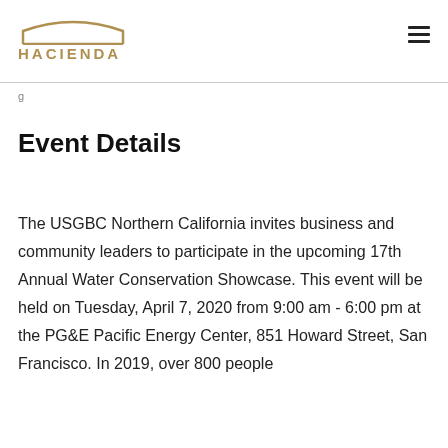HACIENDA
Event Details
The USGBC Northern California invites business and community leaders to participate in the upcoming 17th Annual Water Conservation Showcase. This event will be held on Tuesday, April 7, 2020 from 9:00 am - 6:00 pm at the PG&E Pacific Energy Center, 851 Howard Street, San Francisco. In 2019, over 800 people